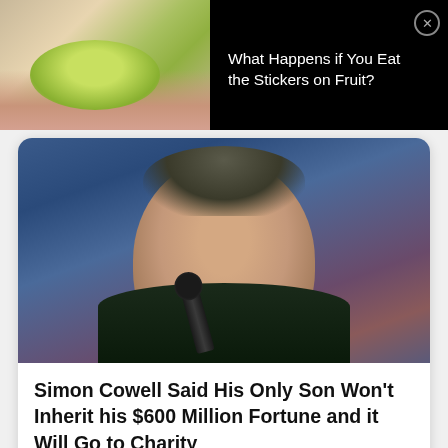[Figure (photo): Advertisement banner showing a close-up of a person biting into a green apple/fruit, with a white sticker visible]
What Happens if You Eat the Stickers on Fruit?
[Figure (photo): Photo of Simon Cowell smiling, wearing a dark sweater, holding a microphone, with a blue stage background]
Simon Cowell Said His Only Son Won't Inherit his $600 Million Fortune and it Will Go to Charity